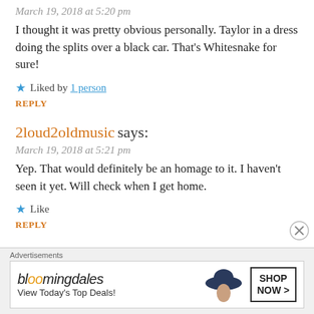March 19, 2018 at 5:20 pm
I thought it was pretty obvious personally. Taylor in a dress doing the splits over a black car. That’s Whitesnake for sure!
★ Liked by 1 person
REPLY
2loud2oldmusic says:
March 19, 2018 at 5:21 pm
Yep. That would definitely be an homage to it. I haven’t seen it yet. Will check when I get home.
★ Like
REPLY
2loud2oldmusic says:
[Figure (infographic): Bloomingdale's advertisement banner with text 'bloemingdales', 'View Today’s Top Deals!', and 'SHOP NOW >' button, with image of woman in wide-brim hat]
Advertisements